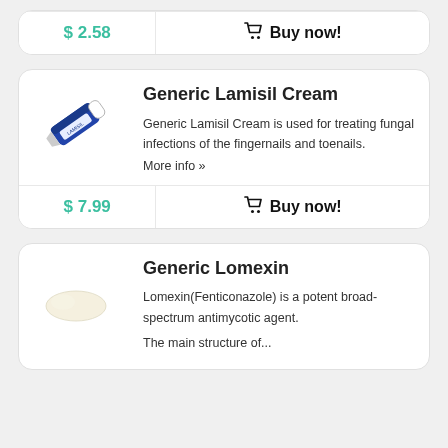$ 2.58
Buy now!
Generic Lamisil Cream
[Figure (photo): Tube of Lamisil cream (blue and white packaging)]
Generic Lamisil Cream is used for treating fungal infections of the fingernails and toenails.
More info »
$ 7.99
Buy now!
Generic Lomexin
[Figure (photo): Cream or suppository product, off-white teardrop shape]
Lomexin(Fenticonazole) is a potent broad-spectrum antimycotic agent.